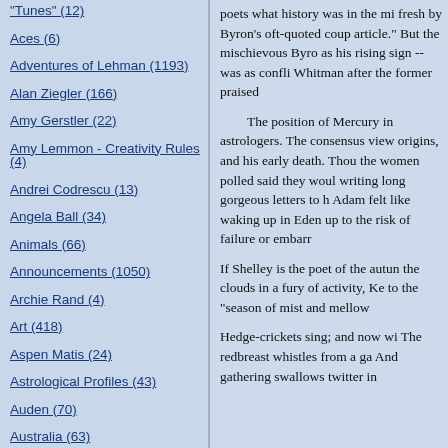"Tunes" (12)
Aces (6)
Adventures of Lehman (1193)
Alan Ziegler (166)
Amy Gerstler (22)
Amy Lemmon - Creativity Rules (4)
Andrei Codrescu (13)
Angela Ball (34)
Animals (66)
Announcements (1050)
Archie Rand (4)
Art (418)
Aspen Matis (24)
Astrological Profiles (43)
Auden (70)
Australia (63)
Awl (7)
Beyond Words (142)
poets what history was in the mi fresh by Byron's oft-quoted coup article." But the mischievous Byro as his rising sign -- was as confli Whitman after the former praised
The position of Mercury in astrologers. The consensus view origins, and his early death. Thou the women polled said they woul writing long gorgeous letters to h Adam felt like waking up in Eden up to the risk of failure or embar
If Shelley is the poet of the autun the clouds in a fury of activity, Ke to the “season of mist and mellow
Hedge-crickets sing; and now wi The redbreast whistles from a ga And gathering swallows twitter in